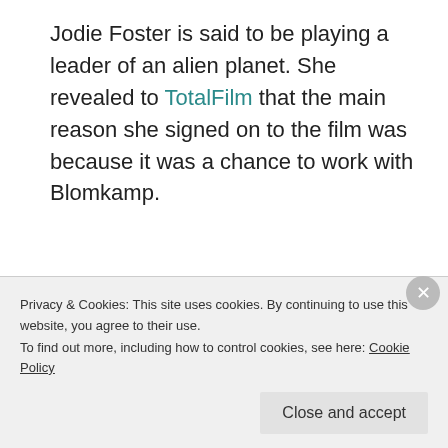Jodie Foster is said to be playing a leader of an alien planet. She revealed to TotalFilm that the main reason she signed on to the film was because it was a chance to work with Blomkamp.
"Yes, definitely. He did District 9, which I think is as close to a perfect movie as you can get … It's
Privacy & Cookies: This site uses cookies. By continuing to use this website, you agree to their use.
To find out more, including how to control cookies, see here: Cookie Policy
Close and accept